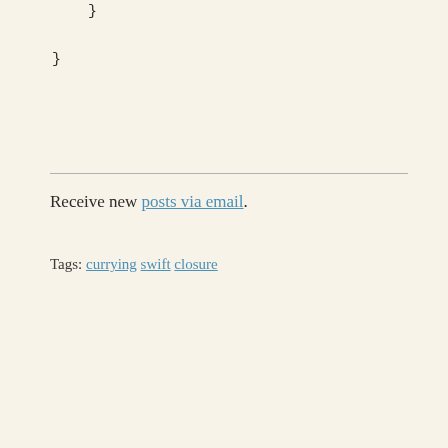}
}
Receive new posts via email.
Tags: currying swift closure
[Figure (other): Comment text area input box with placeholder text 'Enter a comment here...']